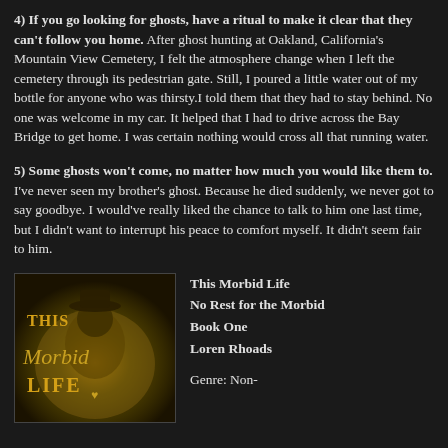4) If you go looking for ghosts, have a ritual to make it clear that they can't follow you home. After ghost hunting at Oakland, California's Mountain View Cemetery, I felt the atmosphere change when I left the cemetery through its pedestrian gate. Still, I poured a little water out of my bottle for anyone who was thirsty.I told them that they had to stay behind. No one was welcome in my car. It helped that I had to drive across the Bay Bridge to get home. I was certain nothing would cross all that running water.
5) Some ghosts won't come, no matter how much you would like them to. I've never seen my brother's ghost. Because he died suddenly, we never got to say goodbye. I would've really liked the chance to talk to him one last time, but I didn't want to interrupt his peace to comfort myself. It didn't seem fair to him.
[Figure (illustration): Book cover for 'This Morbid Life' showing stylized dark golden-toned illustration with the title text in decorative script]
This Morbid Life
No Rest for the Morbid
Book One
Loren Rhoads

Genre: Non-